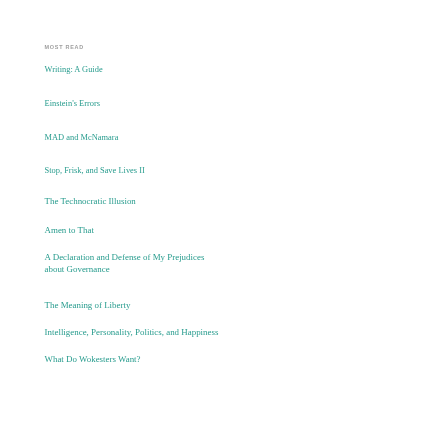MOST READ
Writing: A Guide
Einstein's Errors
MAD and McNamara
Stop, Frisk, and Save Lives II
The Technocratic Illusion
Amen to That
A Declaration and Defense of My Prejudices about Governance
The Meaning of Liberty
Intelligence, Personality, Politics, and Happiness
What Do Wokesters Want?